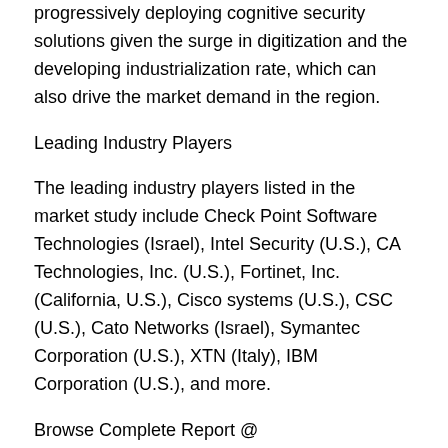progressively deploying cognitive security solutions given the surge in digitization and the developing industrialization rate, which can also drive the market demand in the region.
Leading Industry Players
The leading industry players listed in the market study include Check Point Software Technologies (Israel), Intel Security (U.S.), CA Technologies, Inc. (U.S.), Fortinet, Inc. (California, U.S.), Cisco systems (U.S.), CSC (U.S.), Cato Networks (Israel), Symantec Corporation (U.S.), XTN (Italy), IBM Corporation (U.S.), and more.
Browse Complete Report @ https://www.marketresearchfuture.com/reports/cognitive-security-market-3986
About Market Research Future:
At Market Research Future (MRFR), we enable our customers